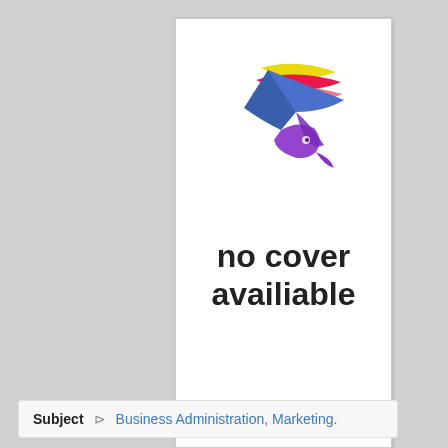[Figure (logo): Colorful bird/phoenix logo with yellow, red, pink, blue, and purple swooping ribbon shapes forming a stylized flying bird]
no cover availiable
Subject   Business Administration, Marketing.